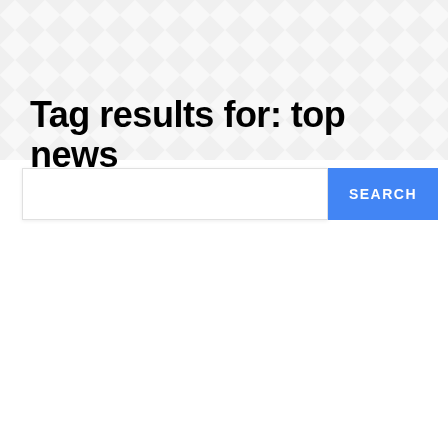Tag results for: top news
[Figure (other): Search bar with blue SEARCH button]